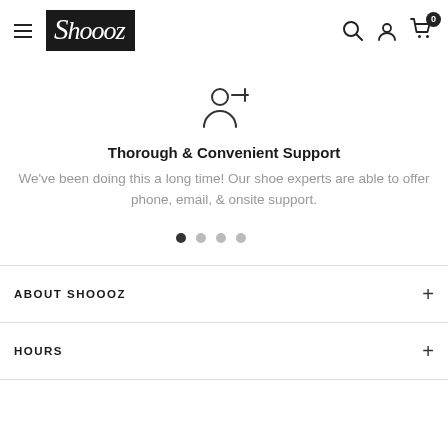Shoooz — navigation header with hamburger menu, logo, search, account, and cart icons
[Figure (illustration): Support icon: person silhouette with a minus/remove symbol, representing user account management or support]
Thorough & Convenient Support
We've been doing this a long time! Our shoe experts are able to offer phone, email, & onsite support.
[Figure (other): Carousel navigation dots: four dots, first one filled/active (dark), remaining three are lighter/inactive]
ABOUT SHOOOZ
HOURS